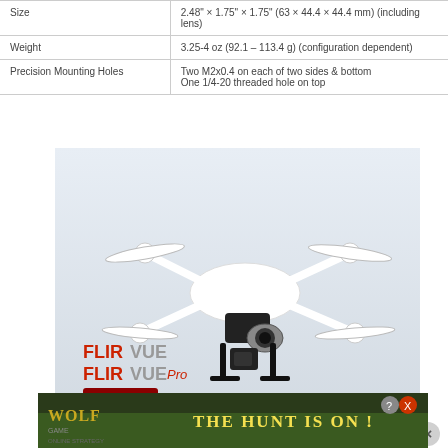|  |  |
| --- | --- |
| Size | 2.48" × 1.75" × 1.75" (63 × 44.4 × 44.4 mm) (including lens) |
| Weight | 3.25-4 oz (92.1 – 113.4 g) (configuration dependent) |
| Precision Mounting Holes | Two M2x0.4 on each of two sides & bottom
One 1/4-20 threaded hole on top |
[Figure (photo): DJI Phantom 4 drone with FLIR Vue and FLIR Vue Pro thermal cameras mounted underneath, with CopterLab branding]
[Figure (photo): Wolf Game advertisement - The Hunt Is On!]